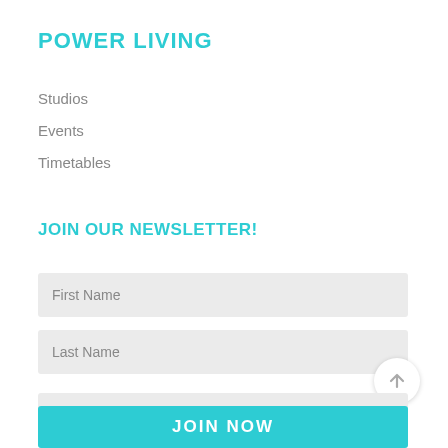POWER LIVING
Studios
Events
Timetables
JOIN OUR NEWSLETTER!
First Name
Last Name
Email
JOIN NOW